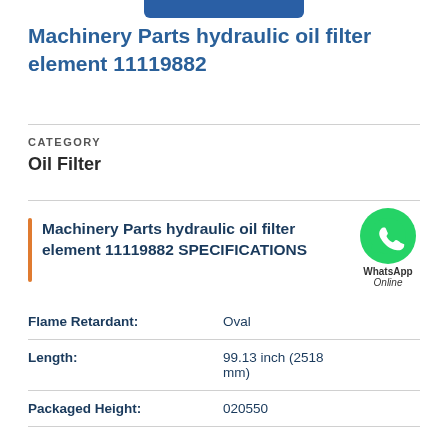Machinery Parts hydraulic oil filter element 11119882
CATEGORY
Oil Filter
Machinery Parts hydraulic oil filter element 11119882 SPECIFICATIONS
| Attribute | Value |
| --- | --- |
| Flame Retardant: | Oval |
| Length: | 99.13 inch (2518 mm) |
| Packaged Height: | 020550 |
[Figure (logo): WhatsApp green phone icon bubble with 'WhatsApp Online' text]